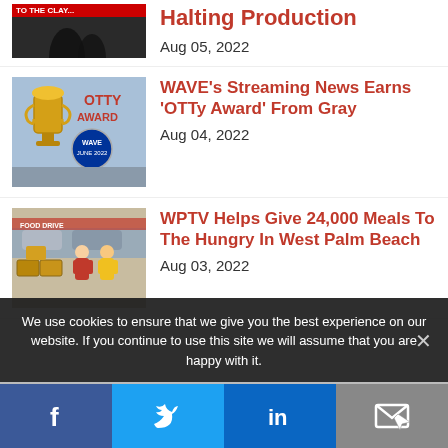[Figure (photo): Partial view of a news thumbnail showing silhouetted figures, partially cropped at top]
Halting Production
Aug 05, 2022
[Figure (photo): OTTy Award image with trophy, WAVE logo, JUNE 2022 text in red and gold]
WAVE’s Streaming News Earns ‘OTTy Award’ From Gray
Aug 04, 2022
[Figure (photo): People distributing food/meals at a community event, cars in background]
WPTV Helps Give 24,000 Meals To The Hungry In West Palm Beach
Aug 03, 2022
We use cookies to ensure that we give you the best experience on our website. If you continue to use this site we will assume that you are happy with it.